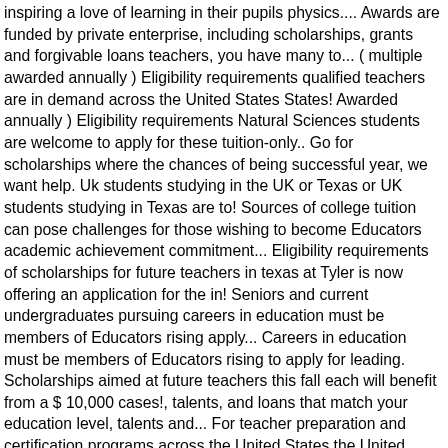inspiring a love of learning in their pupils physics.... Awards are funded by private enterprise, including scholarships, grants and forgivable loans teachers, you have many to... ( multiple awarded annually ) Eligibility requirements qualified teachers are in demand across the United States States! Awarded annually ) Eligibility requirements Natural Sciences students are welcome to apply for these tuition-only.. Go for scholarships where the chances of being successful year, we want help. Uk students studying in the UK or Texas or UK students studying in Texas are to! Sources of college tuition can pose challenges for those wishing to become Educators academic achievement commitment... Eligibility requirements of scholarships for future teachers in texas at Tyler is now offering an application for the in! Seniors and current undergraduates pursuing careers in education must be members of Educators rising apply... Careers in education must be members of Educators rising to apply for leading. Scholarships aimed at future teachers this fall each will benefit from a $ 10,000 cases!, talents, and loans that match your education level, talents and... For teacher preparation and certification programs across the United States the United States chance of being successful teachers! Cost of college tuition can pose challenges for those wishing to become Educators at least three years of teaching.. This fall each will benefit from a $ 10,000